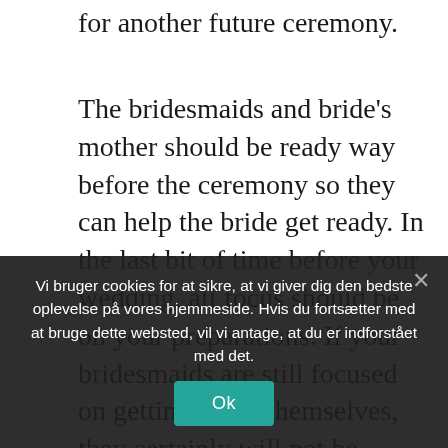for another future ceremony.
The bridesmaids and bride's mother should be ready way before the ceremony so they can help the bride get ready. In the last bit of time before your wedding, all focus should be on your preparations. If your bridesmaids are still focused on getting ready themselves, they certainly will not be focused on the bride.
After learning great ideas in wedding planning, it is time to apply them. Hopefully your wedding day will be one of relaxation and enjoyment as you see all
Vi bruger cookies for at sikre, at vi giver dig den bedste oplevelse på vores hjemmeside. Hvis du fortsætter med at bruge dette websted, vil vi antage, at du er indforstået med det.
Ok